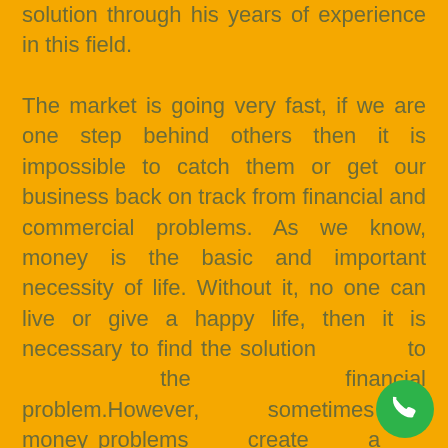solution through his years of experience in this field.

The market is going very fast, if we are one step behind others then it is impossible to catch them or get our business back on track from financial and commercial problems. As we know, money is the basic and important necessity of life. Without it, no one can live or give a happy life, then it is necessary to find the solution to the financial problem.However, sometimes money problems create a problem in our business and we seek a solution for financial problems. It is appropriate to stop a growth theme in our career. Best Astrologer for Business Problem Solution Master Sai Guru Ji is regarded as